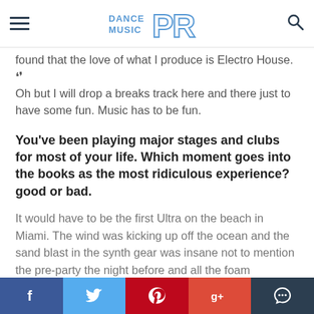Dance Music PR [logo] [hamburger menu] [search icon]
found that the love of what I produce is Electro House. ‘’ Oh but I will drop a breaks track here and there just to have some fun. Music has to be fun.
You’ve been playing major stages and clubs for most of your life. Which moment goes into the books as the most ridiculous experience? good or bad.
It would have to be the first Ultra on the beach in Miami. The wind was kicking up off the ocean and the sand blast in the synth gear was insane not to mention the pre-party the night before and all the foam machines sticking foam to all my gear. The Pre-Party the night before just made all the sand stick to the gear like glue. The experience was definitely a good one even with all
f  [Twitter bird]  p  g+  [chat bubble]